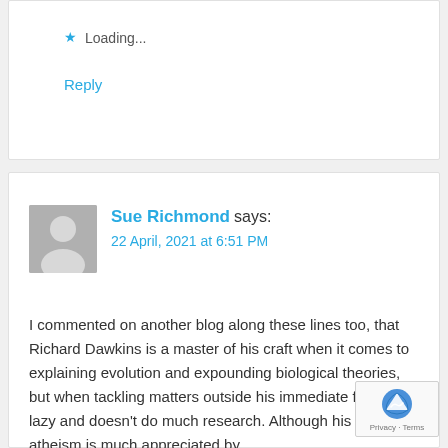Loading...
Reply
Sue Richmond says:
22 April, 2021 at 6:51 PM
I commented on another blog along these lines too, that Richard Dawkins is a master of his craft when it comes to explaining evolution and expounding biological theories, but when tackling matters outside his immediate field he is lazy and doesn't do much research. Although his work on atheism is much appreciated by